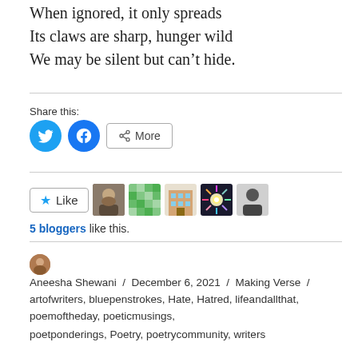When ignored, it only spreads
Its claws are sharp, hunger wild
We may be silent but can’t hide.
Share this:
[Figure (other): Social share buttons: Twitter (blue circle with bird icon), Facebook (blue circle with f icon), and a More button with share icon]
[Figure (other): Like button with star icon and 5 blogger avatar thumbnails]
5 bloggers like this.
Aneesha Shewani / December 6, 2021 / Making Verse / artofwriters, bluepenstrokes, Hate, Hatred, lifeandallthat, poemoftheday, poeticmusings, poetponderings, Poetry, poetrycommunity, writers